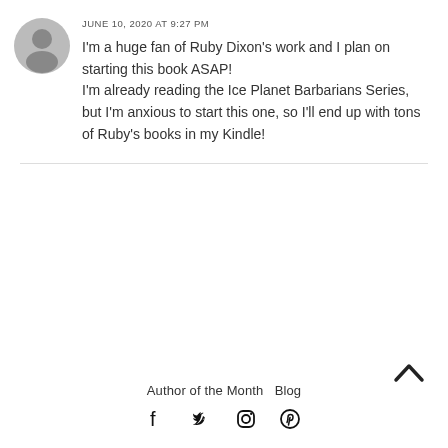[Figure (illustration): Gray circular user avatar icon]
JUNE 10, 2020 AT 9:27 PM
I'm a huge fan of Ruby Dixon's work and I plan on starting this book ASAP!
I'm already reading the Ice Planet Barbarians Series, but I'm anxious to start this one, so I'll end up with tons of Ruby's books in my Kindle!
Author of the Month  Blog